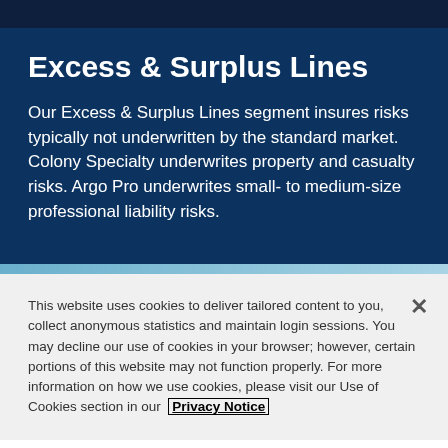Excess & Surplus Lines
Our Excess & Surplus Lines segment insures risks typically not underwritten by the standard market. Colony Specialty underwrites property and casualty risks. Argo Pro underwrites small- to medium-size professional liability risks.
This website uses cookies to deliver tailored content to you, collect anonymous statistics and maintain login sessions. You may decline our use of cookies in your browser; however, certain portions of this website may not function properly. For more information on how we use cookies, please visit our Use of Cookies section in our Privacy Notice